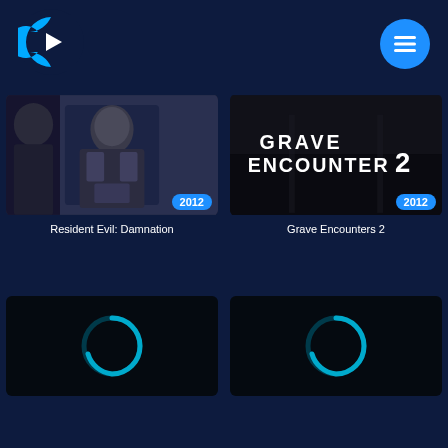[Figure (logo): Crunchyroll-style C logo in blue and white on dark navy background, top left]
[Figure (illustration): Hamburger menu button - blue circle with three white horizontal lines, top right]
[Figure (screenshot): Resident Evil: Damnation movie thumbnail showing armored character, with blue 2012 badge]
Resident Evil: Damnation
[Figure (screenshot): Grave Encounters 2 movie thumbnail showing title text on dark background, with blue 2012 badge]
Grave Encounters 2
[Figure (illustration): Black thumbnail with cyan/blue loading spinner circle, bottom left card]
[Figure (illustration): Black thumbnail with cyan/blue loading spinner circle, bottom right card]